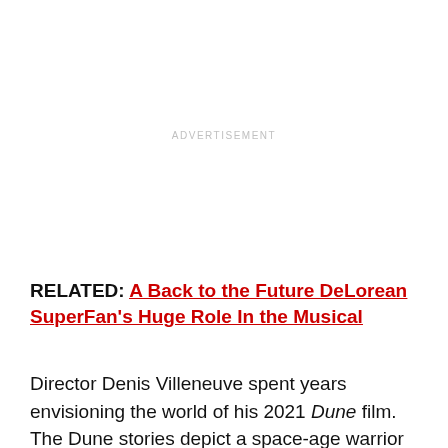ADVERTISEMENT
RELATED: A Back to the Future DeLorean SuperFan's Huge Role In the Musical
Director Denis Villeneuve spent years envisioning the world of his 2021 Dune film. The Dune stories depict a space-age warrior